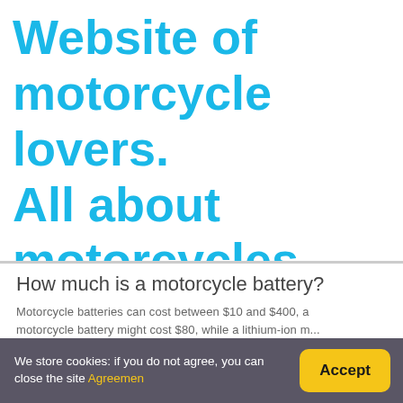Website of motorcycle lovers. All about motorcycles
How much is a motorcycle battery?
Motorcycle batteries can cost between $10 and $400, a motorcycle battery might cost $80, while a lithium-ion m... prices usually start at $100.
We store cookies: if you do not agree, you can close the site Agreemen